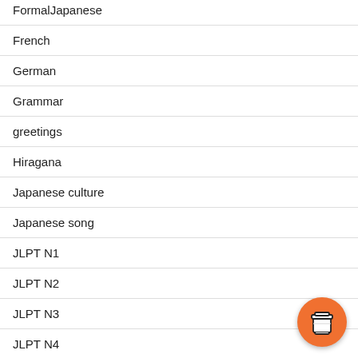FormalJapanese
French
German
Grammar
greetings
Hiragana
Japanese culture
Japanese song
JLPT N1
JLPT N2
JLPT N3
JLPT N4
[Figure (illustration): Orange circular button with a coffee cup icon in the bottom right corner]